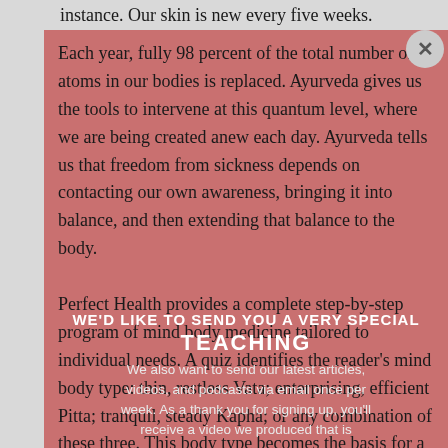instance. Our skin is new every five weeks.
Each year, fully 98 percent of the total number of atoms in our bodies is replaced. Ayurveda gives us the tools to intervene at this quantum level, where we are being created anew each day. Ayurveda tells us that freedom from sickness depends on contacting our own awareness, bringing it into balance, and then extending that balance to the body.
Perfect Health provides a complete step-by-step program of mind body medicine tailored to individual needs. A quiz identifies the reader's mind body type: thin, restless Vata; enterprising, efficient Pitta; tranquil, steady Kapha; or any combination of these three. This body type becomes the basis for a specific Ayurvedic program of diet, stress reduction,
WE'D LIKE TO SEND YOU A VERY SPECIAL TEACHING
We also want to send our latest articles, videos, and podcasts via email once per week. As a thank you for signing up, you'll receive a video we produced that is